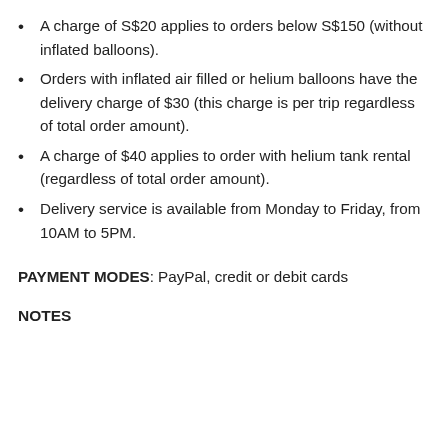A charge of S$20 applies to orders below S$150 (without inflated balloons).
Orders with inflated air filled or helium balloons have the delivery charge of $30 (this charge is per trip regardless of total order amount).
A charge of $40 applies to order with helium tank rental (regardless of total order amount).
Delivery service is available from Monday to Friday, from 10AM to 5PM.
PAYMENT MODES: PayPal, credit or debit cards
NOTES